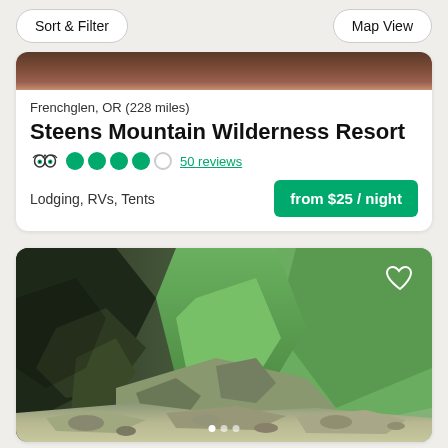Sort & Filter   Map View
Frenchglen, OR (228 miles)
Steens Mountain Wilderness Resort
50 reviews
Lodging, RVs, Tents
from $25 / night
[Figure (photo): Mountain landscape with green valley and rocky terrain]